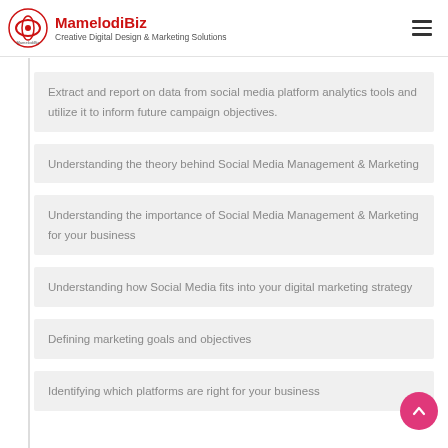MamelodiBiz — Creative Digital Design & Marketing Solutions
Extract and report on data from social media platform analytics tools and utilize it to inform future campaign objectives.
Understanding the theory behind Social Media Management & Marketing
Understanding the importance of Social Media Management & Marketing for your business
Understanding how Social Media fits into your digital marketing strategy
Defining marketing goals and objectives
Identifying which platforms are right for your business